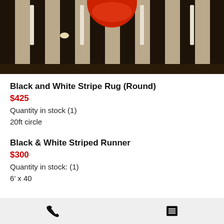[Figure (photo): Photo of a black and white striped rug on a dark wood floor, with red chair visible and white furniture stands around it]
Black and White Stripe Rug (Round)
$425
Quantity in stock (1)
20ft circle
Black & White Striped Runner
$300
Quantity in stock: (1)
6’ x 40
Redford Faux Stone Bar Wrap
$225
Quantity in stock: (4)
7•4″ W x 2•4″ D x 4’ T
Needs a 6’ Table
Phone icon | List icon